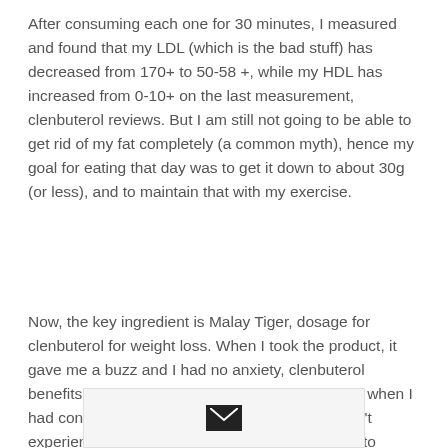After consuming each one for 30 minutes, I measured and found that my LDL (which is the bad stuff) has decreased from 170+ to 50-58 +, while my HDL has increased from 0-10+ on the last measurement, clenbuterol reviews. But I am still not going to be able to get rid of my fat completely (a common myth), hence my goal for eating that day was to get it down to about 30g (or less), and to maintain that with my exercise.
Now, the key ingredient is Malay Tiger, dosage for clenbuterol for weight loss. When I took the product, it gave me a buzz and I had no anxiety, clenbuterol benefits weight loss. The reason for this was that when I had consumed this product on the last day, I didn't experience any of the following effects: It helped to increase my metabolic rate. This
[Figure (other): Email/envelope icon widget at bottom of page]